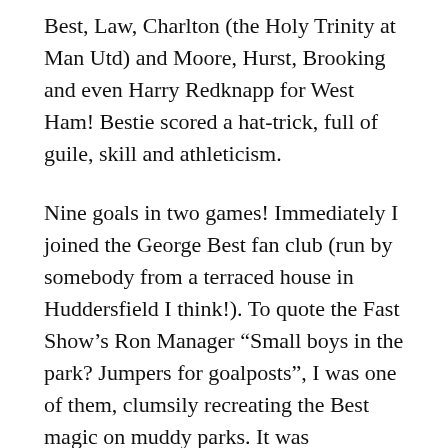Best, Law, Charlton (the Holy Trinity at Man Utd) and Moore, Hurst, Brooking and even Harry Redknapp for West Ham! Bestie scored a hat-trick, full of guile, skill and athleticism.
Nine goals in two games! Immediately I joined the George Best fan club (run by somebody from a terraced house in Huddersfield I think!). To quote the Fast Show's Ron Manager “Small boys in the park? Jumpers for goalposts”, I was one of them, clumsily recreating the Best magic on muddy parks. It was phenomenal, pure celebrity, ‘E for B and Georgie Best’ (for those that remember the advertising), the restaurants, the boutiques and model girlfriends. We all got caught up in his career,